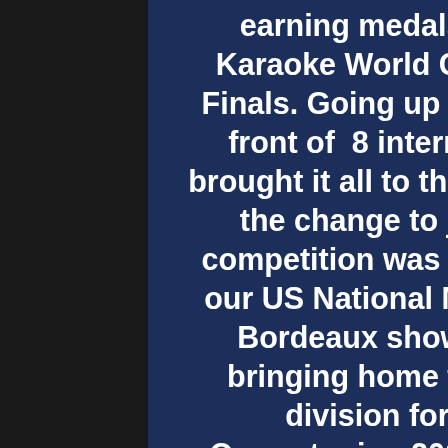earning medals in every division for the Karaoke World Championships 2018 World Finals. Going up against over 20 countries in front of  8 international judges Team USA brought it all to the world stage this year.  With the change to just one world winner the competition was harder than ever before and our US National Male Champion Mikko Blaze Bordeaux showed he was up to the task bringing home the Gold Medal in the solo division for the 2nd year in a row. Our outgoing 2017 World Female Champion Shanna Hardle